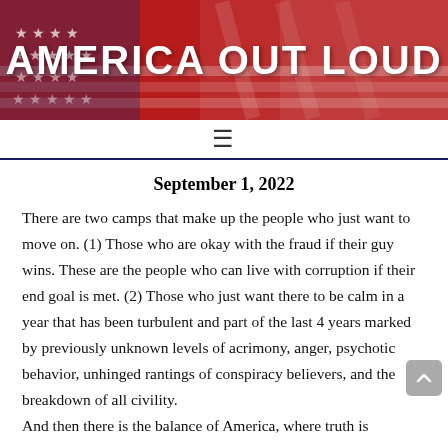AMERICA OUT LOUD
September 1, 2022
There are two camps that make up the people who just want to move on. (1) Those who are okay with the fraud if their guy wins. These are the people who can live with corruption if their end goal is met. (2) Those who just want there to be calm in a year that has been turbulent and part of the last 4 years marked by previously unknown levels of acrimony, anger, psychotic behavior, unhinged rantings of conspiracy believers, and the breakdown of all civility. And then there is the balance of America, where truth is paramount.